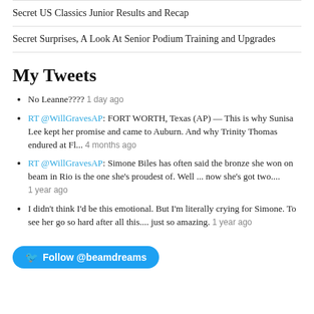Secret US Classics Junior Results and Recap
Secret Surprises, A Look At Senior Podium Training and Upgrades
My Tweets
No Leanne???? 1 day ago
RT @WillGravesAP: FORT WORTH, Texas (AP) — This is why Sunisa Lee kept her promise and came to Auburn. And why Trinity Thomas endured at Fl... 4 months ago
RT @WillGravesAP: Simone Biles has often said the bronze she won on beam in Rio is the one she's proudest of. Well ... now she's got two.... 1 year ago
I didn't think I'd be this emotional. But I'm literally crying for Simone. To see her go so hard after all this.... just so amazing. 1 year ago
Follow @beamdreams